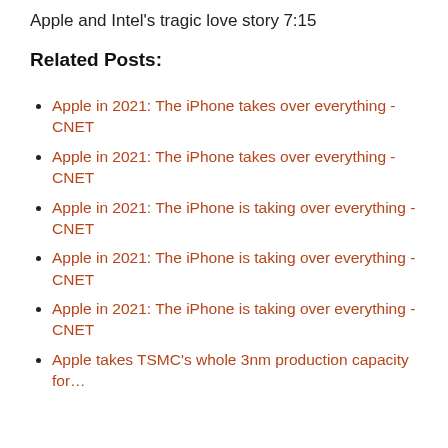Apple and Intel's tragic love story
7:15
Related Posts:
Apple in 2021: The iPhone takes over everything - CNET
Apple in 2021: The iPhone takes over everything - CNET
Apple in 2021: The iPhone is taking over everything - CNET
Apple in 2021: The iPhone is taking over everything - CNET
Apple in 2021: The iPhone is taking over everything - CNET
Apple takes TSMC's whole 3nm production capacity for…